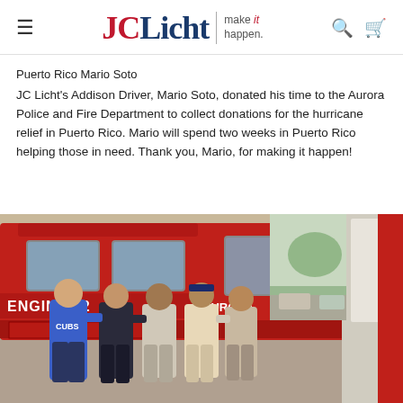JCLicht | make it happen.
Puerto Rico Mario Soto
JC Licht's Addison Driver, Mario Soto, donated his time to the Aurora Police and Fire Department to collect donations for the hurricane relief in Puerto Rico. Mario will spend two weeks in Puerto Rico helping those in need. Thank you, Mario, for making it happen!
[Figure (photo): Five people posing in front of a red fire truck labeled ENGINE 12 AURORA inside a fire station bay. One person wears a Cubs hoodie, another wears a fire department uniform. The group is smiling for the photo.]